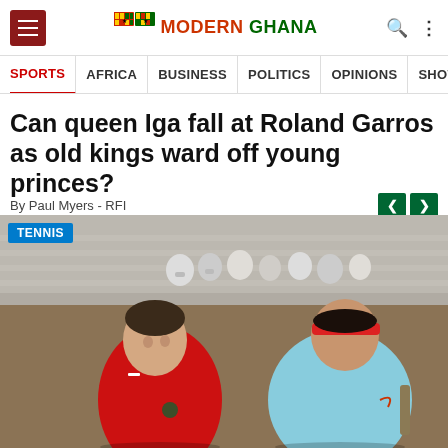Modern Ghana - SPORTS | AFRICA | BUSINESS | POLITICS | OPINIONS | SHOWBIZ
Can queen Iga fall at Roland Garros as old kings ward off young princes?
By Paul Myers - RFI
[Figure (photo): Two male tennis players on a clay court, one in red jersey and one in light blue, facing each other at Roland Garros with spectators in background. Badge reads TENNIS.]